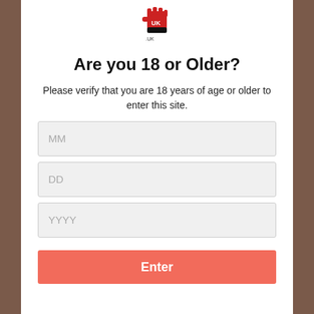[Figure (logo): Website logo with a raised fist and UK text, red and black colors]
Are you 18 or Older?
Please verify that you are 18 years of age or older to enter this site.
MM
DD
YYYY
Enter